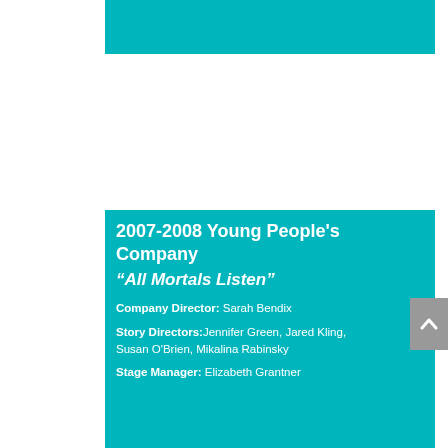[Figure (other): Teal/turquoise horizontal bar at the top of the page]
2007-2008 Young People's Company
“All Mortals Listen”
Company Director: Sarah Bendix
Story Directors: Jennifer Green, Jared Kling, Susan O’Brien, Mikalina Rabinsky
Stage Manager: Elizabeth Grantner